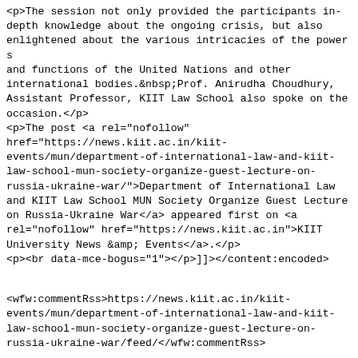<p>The session not only provided the participants in-depth knowledge about the ongoing crisis, but also enlightened about the various intricacies of the powers and functions of the United Nations and other international bodies.&nbsp;Prof. Anirudha Choudhury, Assistant Professor, KIIT Law School also spoke on the occasion.</p>
<p>The post <a rel="nofollow" href="https://news.kiit.ac.in/kiit-events/mun/department-of-international-law-and-kiit-law-school-mun-society-organize-guest-lecture-on-russia-ukraine-war/">Department of International Law and KIIT Law School MUN Society Organize Guest Lecture on Russia-Ukraine War</a> appeared first on <a rel="nofollow" href="https://news.kiit.ac.in">KIIT University News &amp; Events</a>.</p>
<p><br data-mce-bogus="1"></p>]]></content:encoded>
<wfw:commentRss>https://news.kiit.ac.in/kiit-events/mun/department-of-international-law-and-kiit-law-school-mun-society-organize-guest-lecture-on-russia-ukraine-war/feed/</wfw:commentRss>
<slash:comments>0</slash:comments>
</item>
    <item>
    <title>Curtains Brought Down on Asia's